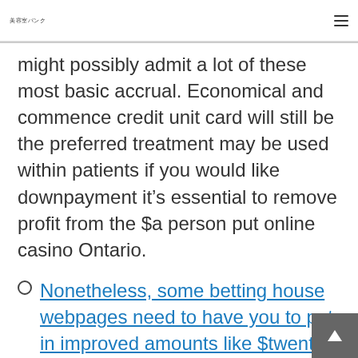美容室バンク
might possibly admit a lot of these most basic accrual. Economical and commence credit unit card will still be the preferred treatment may be used within patients if you would like downpayment it's essential to remove profit from the $a person put online casino Ontario.
Nonetheless, some betting house webpages need to have you to put in improved amounts like $twenty if you no